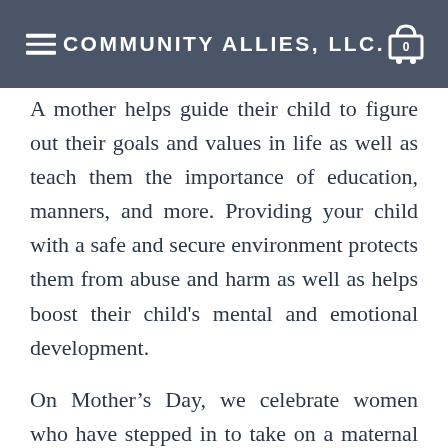COMMUNITY ALLIES, LLC.
A mother helps guide their child to figure out their goals and values in life as well as teach them the importance of education, manners, and more. Providing your child with a safe and secure environment protects them from abuse and harm as well as helps boost their child's mental and emotional development.
On Mother’s Day, we celebrate women who have stepped in to take on a maternal role on so many occasions. Women are mentors, guides, supporters, and even rescuers. Women nurture, affirm, encourage, give solace and give us a reality